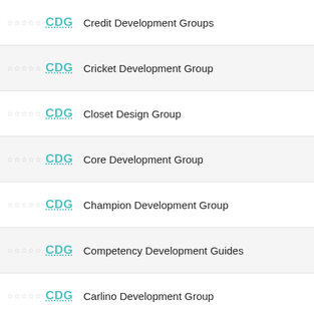CDG — Credit Development Groups
CDG — Cricket Development Group
CDG — Closet Design Group
CDG — Core Development Group
CDG — Champion Development Group
CDG — Competency Development Guides
CDG — Carlino Development Group
CDG — Casapinta Design Group
[Figure (screenshot): Advertisement banner: THE PERSPECTIVE - SEE WHAT YOU'RE MISSING with READ MORE button]